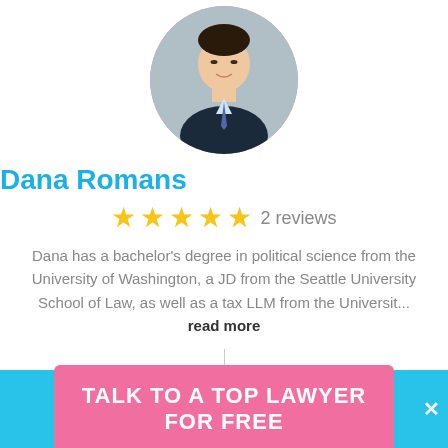[Figure (photo): Circular profile photo of a young man in a dark suit with a tie, smiling, against a grey background]
Dana Romans
[Figure (infographic): 5 yellow star rating icons followed by '2 reviews' text]
Dana has a bachelor's degree in political science from the University of Washington, a JD from the Seattle University School of Law, as well as a tax LLM from the Universit... read more
[Figure (photo): Circular profile photo of a bald older man, partially visible at bottom of page]
TALK TO A TOP LAWYER FOR FREE